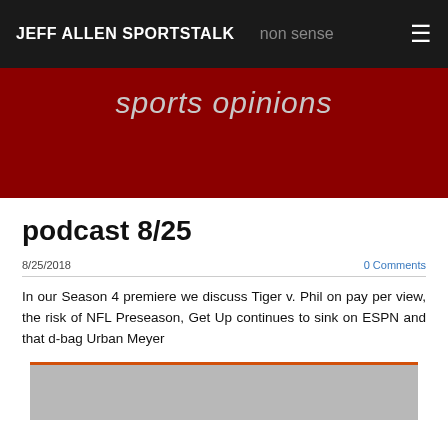JEFF ALLEN SPORTSTALK non sense
sports opinions
podcast 8/25
8/25/2018
0 Comments
In our Season 4 premiere we discuss Tiger v. Phil on pay per view, the risk of NFL Preseason, Get Up continues to sink on ESPN and that d-bag Urban Meyer
[Figure (other): Media player or embedded podcast player placeholder (gray rectangle with orange/red accent bar)]